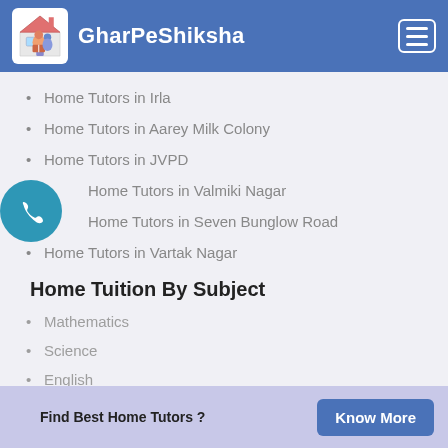GharPeShiksha
Home Tutors in Irla
Home Tutors in Aarey Milk Colony
Home Tutors in JVPD
Home Tutors in Valmiki Nagar
Home Tutors in Seven Bunglow Road
Home Tutors in Vartak Nagar
Home Tuition By Subject
Mathematics
Science
English
Social-Science
History
Find Best Home Tutors ?